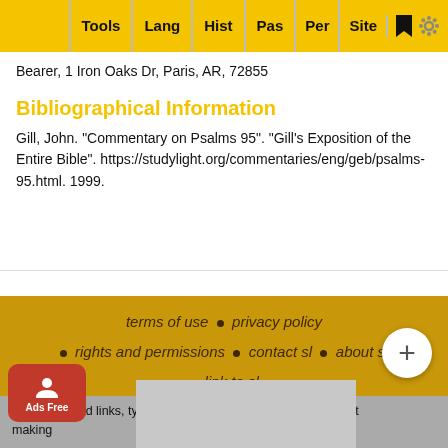Tools  Lang  Hist  Pas  Per  Site
Bearer, 1 Iron Oaks Dr, Paris, AR, 72855
Bibliographical Information
Gill, John. "Commentary on Psalms 95". "Gill's Exposition of the Entire Bible". https://studylight.org/commentaries/eng/geb/psalms-95.html. 1999.
terms of use  •  privacy policy  •  rights and permissions  •  contact sl  •  about sl  •  link to sl
To report dead links, typos, or html errors or suggestions about making contact